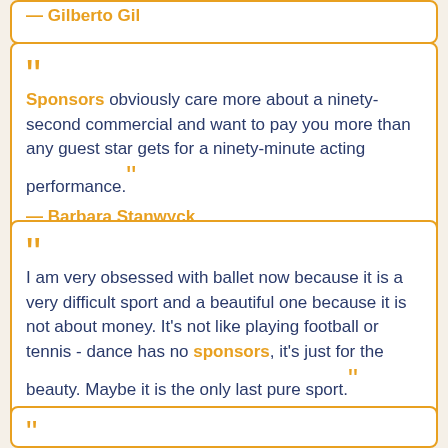— Gilberto Gil
"Sponsors obviously care more about a ninety-second commercial and want to pay you more than any guest star gets for a ninety-minute acting performance."
— Barbara Stanwyck
"I am very obsessed with ballet now because it is a very difficult sport and a beautiful one because it is not about money. It's not like playing football or tennis - dance has no sponsors, it's just for the beauty. Maybe it is the only last pure sport."
— Carine Roitfeld